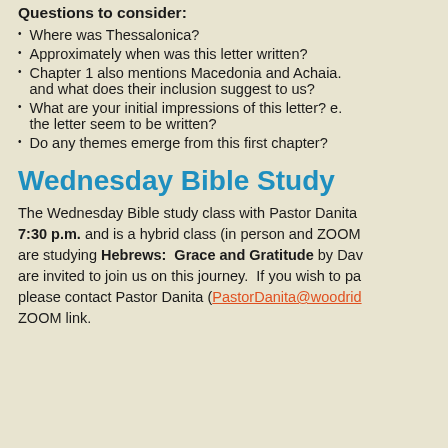Questions to consider:
Where was Thessalonica?
Approximately when was this letter written?
Chapter 1 also mentions Macedonia and Achaia. and what does their inclusion suggest to us?
What are your initial impressions of this letter? e. the letter seem to be written?
Do any themes emerge from this first chapter?
Wednesday Bible Study
The Wednesday Bible study class with Pastor Danita 7:30 p.m. and is a hybrid class (in person and ZOOM are studying Hebrews: Grace and Gratitude by Dav are invited to join us on this journey. If you wish to pa please contact Pastor Danita (PastorDanita@woodrid ZOOM link.